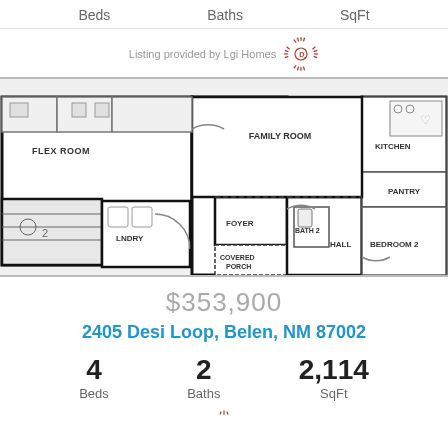Beds   Baths   SqFt
Listing provided by Lgi Homes
[Figure (engineering-diagram): Floor plan of a house showing: Family Room, Flex Room, Hall, Foyer, Lndry, Kitchen, Pantry, Bedroom 2, Bath 2, Covered Porch, and a 2-car garage]
$353,900
2405 Desi Loop, Belen, NM 87002
4 Beds   2 Baths   2,114 SqFt